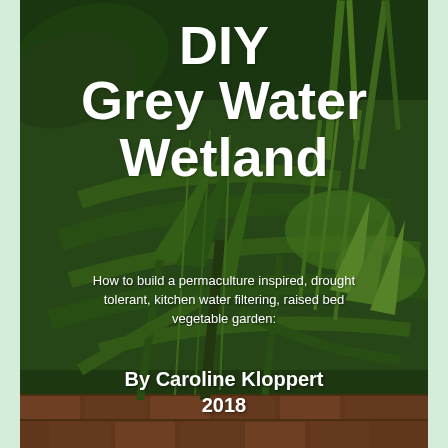[Figure (photo): Photograph of a lush green wetland garden with various plants including large-leafed tropical plants, grass-like reeds, and narrow-leafed plants. A red brick raised bed is visible at the bottom. The photo serves as the book cover background.]
DIY Grey Water Wetland
How to build a permaculture inspired, drought tolerant, kitchen water filtering, raised bed vegetable garden:
By Caroline Kloppert 2018